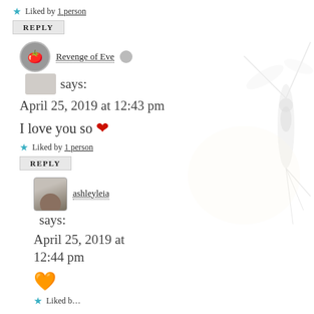★ Liked by 1 person
REPLY
Revenge of Eve says:
April 25, 2019 at 12:43 pm
I love you so ❤
★ Liked by 1 person
REPLY
ashleyleia says:
April 25, 2019 at 12:44 pm
🧡
★ Liked by...